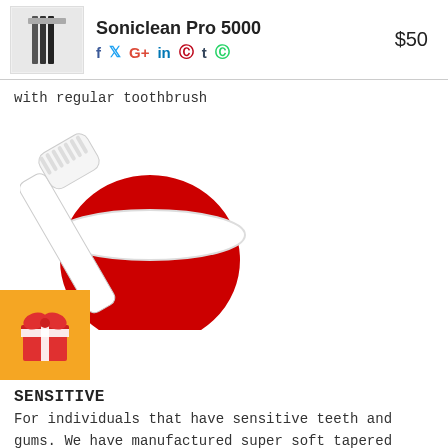Soniclean Pro 5000 $50
with regular toothbrush
[Figure (photo): Top-down view of a white and red toothbrush resting on a red circular object, with a gift badge overlay in the bottom-left corner]
SENSITIVE
For individuals that have sensitive teeth and gums. We have manufactured super soft tapered bristles specially for you
[Figure (photo): Top-down view of a white and red toothbrush resting on a red circular object, partially cropped at the bottom of the page]